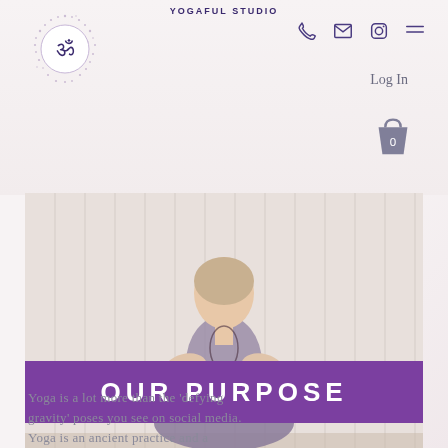[Figure (logo): Yogaful Studio logo with Om symbol in purple circle with decorative dots/particles around it]
YOGAFUL STUDIO
[Figure (illustration): Navigation icons: phone, email/envelope, Instagram, hamburger menu]
Log In
[Figure (illustration): Shopping cart/bag icon with number 0]
[Figure (photo): Woman sitting in yoga pose (lotus/butterfly) in front of vertical blinds, wearing purple/mauve clothing, smiling]
OUR PURPOSE
Yoga is a lot more than the 'defying gravity' poses you see on social media. Yoga is an ancient practice and a